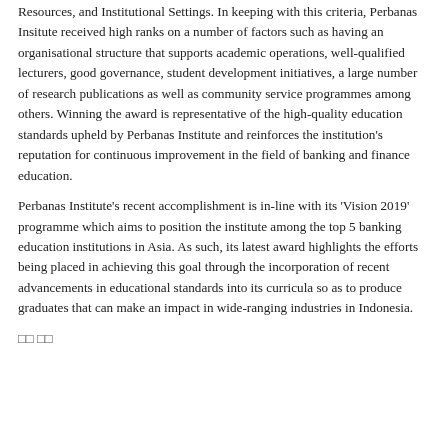Resources, and Institutional Settings. In keeping with this criteria, Perbanas Insitute received high ranks on a number of factors such as having an organisational structure that supports academic operations, well-qualified lecturers, good governance, student development initiatives, a large number of research publications as well as community service programmes among others. Winning the award is representative of the high-quality education standards upheld by Perbanas Institute and reinforces the institution's reputation for continuous improvement in the field of banking and finance education.
Perbanas Institute's recent accomplishment is in-line with its 'Vision 2019' programme which aims to position the institute among the top 5 banking education institutions in Asia. As such, its latest award highlights the efforts being placed in achieving this goal through the incorporation of recent advancements in educational standards into its curricula so as to produce graduates that can make an impact in wide-ranging industries in Indonesia.
□□ □□